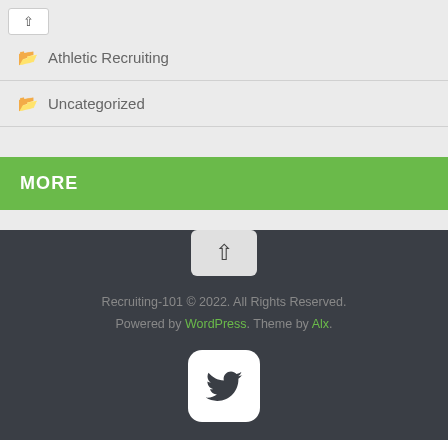Athletic Recruiting
Uncategorized
MORE
Recruiting-101 © 2022. All Rights Reserved. Powered by WordPress. Theme by Alx.